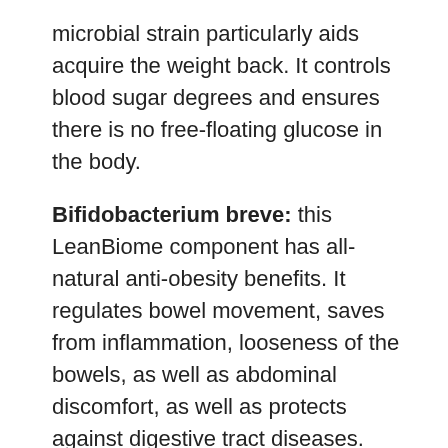microbial strain particularly aids acquire the weight back. It controls blood sugar degrees and ensures there is no free-floating glucose in the body.
Bifidobacterium breve: this LeanBiome component has all-natural anti-obesity benefits. It regulates bowel movement, saves from inflammation, looseness of the bowels, as well as abdominal discomfort, as well as protects against digestive tract diseases.
Bifidobacterium lactis: next in LeanBiome ingredients is Bifidobacterium lactis, which decreases belly fat. It likewise saves from digestion conditions, specifically in more youthful